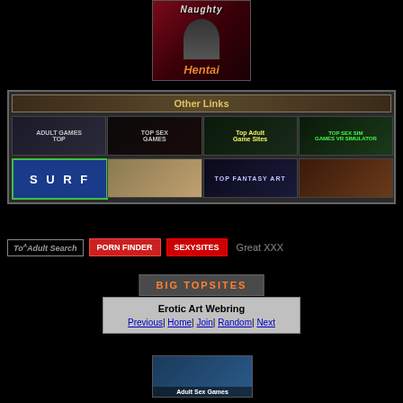[Figure (illustration): Naughty Hentai banner with animated female figure on dark red background]
Other Links
[Figure (infographic): Grid of 8 link thumbnail banners including Adult Games Top, Top Sex Games, Top Adult Game Sites, Top Sex Sim, Surf, photo thumbnail, Top Fantasy Art, anime thumbnail]
[Figure (logo): Top Adult Search button]
[Figure (logo): PORN FINDER button]
[Figure (logo): SEXYSITES button]
Great XXX
[Figure (logo): BIG TOPSITES button]
Erotic Art Webring
Previous | Home | Join | Random | Next
[Figure (illustration): Adult Sex Games bottom banner]